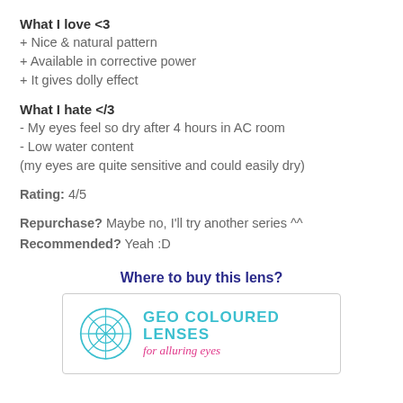What I love <3
+ Nice & natural pattern
+ Available in corrective power
+ It gives dolly effect
What I hate </3
- My eyes feel so dry after 4 hours in AC room
- Low water content
(my eyes are quite sensitive and could easily dry)
Rating: 4/5
Repurchase? Maybe no, I'll try another series ^^
Recommended? Yeah :D
Where to buy this lens?
[Figure (logo): GEO Coloured Lenses logo with cyan geometric globe icon and text 'GEO COLOURED LENSES for alluring eyes']